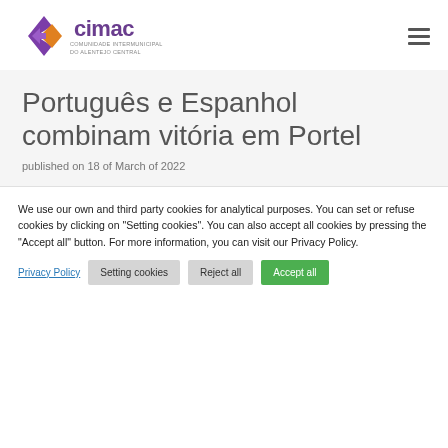[Figure (logo): CIMAC logo - diamond shapes in purple and orange with text 'cimac' and subtitle 'COMUNIDADE INTERMUNICIPAL DO ALENTEJO CENTRAL']
Português e Espanhol combinam vitória em Portel
published on 18 of March of 2022
We use our own and third party cookies for analytical purposes. You can set or refuse cookies by clicking on "Setting cookies". You can also accept all cookies by pressing the "Accept all" button. For more information, you can visit our Privacy Policy.